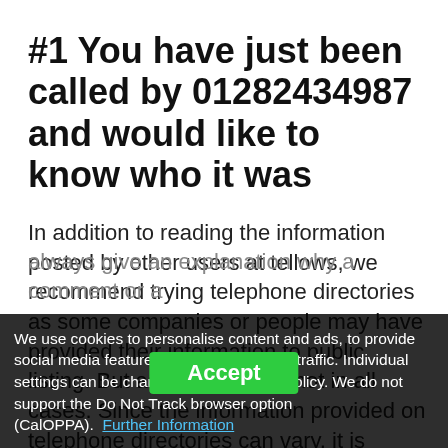#1 You have just been called by 01282434987 and would like to know who it was
In addition to reading the information posted by other users at tellows, we recommend trying telephone directories as some companies or people may have provided their information to public listing. But as we know, it's not in all cases. Since the information provided on telephone directories can vary, it is always advised to use multiple resources to gain accurate results. If there is a problem with a comment or a report, we should always give an explanation why a comment or a
We use cookies to personalise content and ads, to provide social media features and to analyse our traffic. Individual settings can be changed in the Privacy Policy. We do not support the Do Not Track browser option (CalOPPA). Further Information